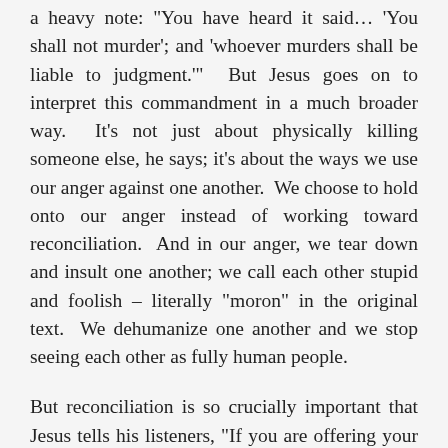a heavy note: “You have heard it said… ‘You shall not murder’; and ‘whoever murders shall be liable to judgment.’” But Jesus goes on to interpret this commandment in a much broader way. It’s not just about physically killing someone else, he says; it’s about the ways we use our anger against one another. We choose to hold onto our anger instead of working toward reconciliation. And in our anger, we tear down and insult one another; we call each other stupid and foolish – literally “moron” in the original text. We dehumanize one another and we stop seeing each other as fully human people.
But reconciliation is so crucially important that Jesus tells his listeners, “If you are offering your gift at the altar, and in that moment you remember that you have beef with your neighbor, literally drop everything and go be reconciled first.” The gifts at the altar he is talking about